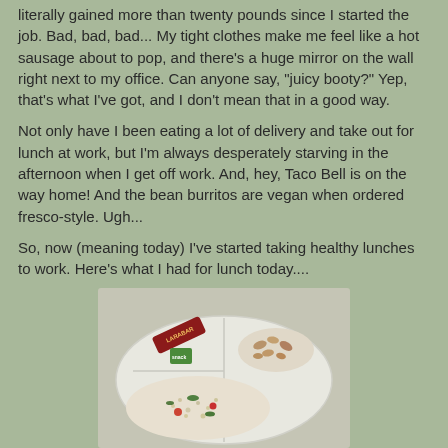literally gained more than twenty pounds since I started the job. Bad, bad, bad... My tight clothes make me feel like a hot sausage about to pop, and there's a huge mirror on the wall right next to my office. Can anyone say, "juicy booty?" Yep, that's what I've got, and I don't mean that in a good way.
Not only have I been eating a lot of delivery and take out for lunch at work, but I'm always desperately starving in the afternoon when I get off work. And, hey, Taco Bell is on the way home! And the bean burritos are vegan when ordered fresco-style. Ugh...
So, now (meaning today) I've started taking healthy lunches to work. Here's what I had for lunch today....
[Figure (photo): A divided lunch plate containing a Larabar, a small green package, mixed nuts or beans in one section, a grain/quinoa salad with vegetables in another section, visible on a light gray surface.]